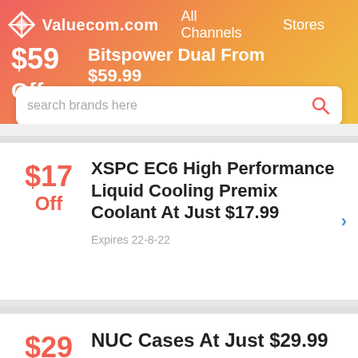[Figure (screenshot): Valuecom.com website header with gradient background (red-orange to yellow), logo, navigation links (All Channels, Stores), a partially visible deal card showing $59 Off, Bitspower Dual From $59.99, and a search bar with placeholder text 'search brands here']
$17 Off — XSPC EC6 High Performance Liquid Cooling Premix Coolant At Just $17.99 — Expires 22-8-22
$29 Off — NUC Cases At Just $29.99 — Expires 4-9-22